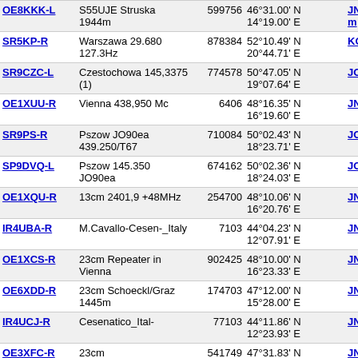| Callsign | Description | ID | Coordinates | Locator | Dist |
| --- | --- | --- | --- | --- | --- |
| OE8KKK-L | S55UJE Struska 1944m | 599756 | 46°31.00' N 14°19.00' E | JN76dm | 4317.7 |
| SR5KP-R | Warszawa 29.680 127.3Hz | 878384 | 52°10.49' N 20°44.71' E | KO02ie | 4321.4 |
| SR9CZC-L | Czestochowa 145,3375 (1) | 774578 | 50°47.05' N 19°07.64' E | JO90ns | 4322.6 |
| OE1XUU-R | Vienna 438,950 Mc | 6406 | 48°16.35' N 16°19.60' E | JN88dg | 4323.4 |
| SR9PS-R | Pszow JO90ea 439.250/T67 | 710084 | 50°02.43' N 18°23.71' E | JO90ea | 4327.1 |
| SP9DVQ-L | Pszow 145.350 JO90ea | 674162 | 50°02.36' N 18°24.03' E | JO90ea | 4327.3 |
| OE1XQU-R | 13cm 2401,9 +48MHz | 254700 | 48°10.06' N 16°20.76' E | JN88ee | 4328.3 |
| IR4UBA-R | M.Cavallo-Cesen-_Italy | 7103 | 44°04.23' N 12°07.91' E | JN64bb | 4329.3 |
| OE1XCS-R | 23cm Repeater in Vienna | 902425 | 48°10.00' N 16°23.33' E | JN88ee | 4330.0 |
| OE6XDD-R | 23cm Schoeckl/Graz 1445m | 174703 | 47°12.00' N 15°28.00' E | JN77re | 4334.3 |
| IR4UCJ-R | Cesenatico_Ital- | 77103 | 44°11.86' N 12°23.93' E | JN64ee | 4335.0 |
| OE3XFC-R | 23cm Hochwechsel/1743m | 541749 | 47°31.83' N 15°54.86' E | JN77wm | 4337.9 |
| SR9E-R | Silesia, 145.725, T71.9 | 902622 | 50°17.88' N 19°00.30' E | JO90mh | 4338.3 |